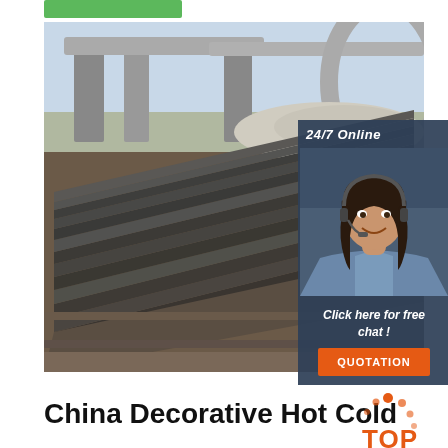[Figure (photo): Green navigation bar / button at top of page]
[Figure (photo): Photo of stacked dark steel/metal plates at an industrial yard with highway overpass in background; overlaid with a dark blue customer service panel showing '24/7 Online', a female agent with headset, 'Click here for free chat!' text, and an orange QUOTATION button; a TOP badge in bottom right corner]
China Decorative Hot Cold